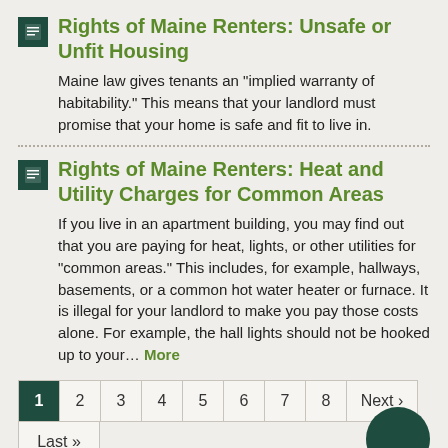Rights of Maine Renters: Unsafe or Unfit Housing
Maine law gives tenants an "implied warranty of habitability." This means that your landlord must promise that your home is safe and fit to live in.
Rights of Maine Renters: Heat and Utility Charges for Common Areas
If you live in an apartment building, you may find out that you are paying for heat, lights, or other utilities for "common areas." This includes, for example, hallways, basements, or a common hot water heater or furnace. It is illegal for your landlord to make you pay those costs alone. For example, the hall lights should not be hooked up to your… More
1 2 3 4 5 6 7 8 Next › Last »